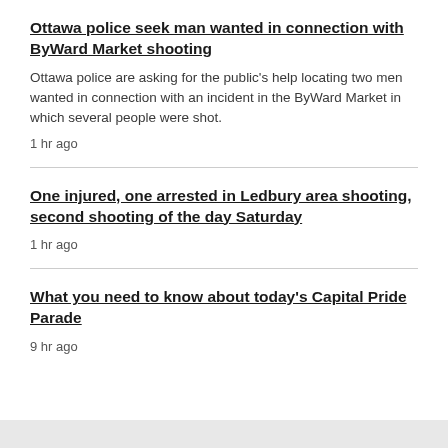Ottawa police seek man wanted in connection with ByWard Market shooting
Ottawa police are asking for the public's help locating two men wanted in connection with an incident in the ByWard Market in which several people were shot.
1 hr ago
One injured, one arrested in Ledbury area shooting, second shooting of the day Saturday
1 hr ago
What you need to know about today's Capital Pride Parade
9 hr ago